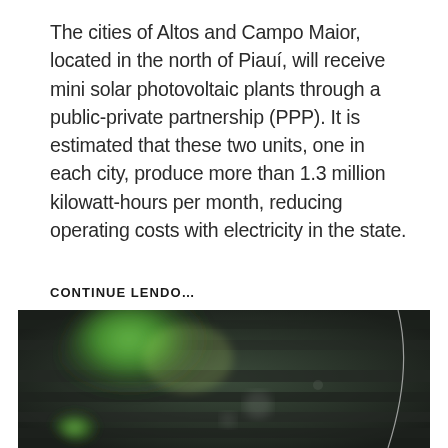The cities of Altos and Campo Maior, located in the north of Piauí, will receive mini solar photovoltaic plants through a public-private partnership (PPP). It is estimated that these two units, one in each city, produce more than 1.3 million kilowatt-hours per month, reducing operating costs with electricity in the state.
CONTINUE LENDO...
[Figure (photo): Blurred close-up photo of solar panels or electronic equipment with green and dark gray tones, with a thin curved line visible on the right side.]